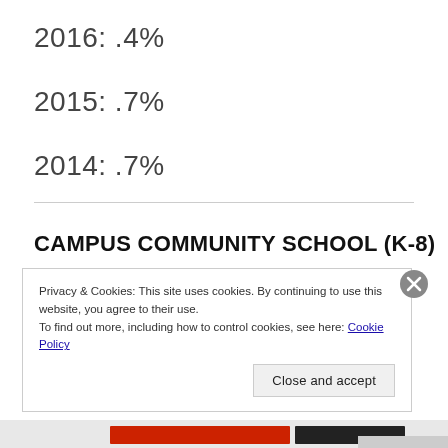2016:  .4%
2015:  .7%
2014:  .7%
CAMPUS COMMUNITY SCHOOL (K-8)
Privacy & Cookies: This site uses cookies. By continuing to use this website, you agree to their use.
To find out more, including how to control cookies, see here: Cookie Policy
Close and accept